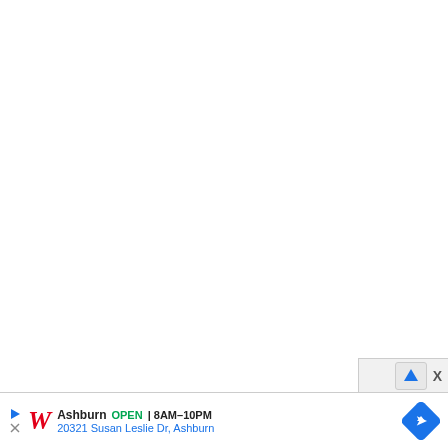[Figure (screenshot): Large white empty area taking up the upper portion of the page, representing a blank browser or app content area.]
[Figure (infographic): Bottom ad bar showing Walgreens advertisement: Ashburn location, OPEN 8AM-10PM, address 20321 Susan Leslie Dr, Ashburn, with navigation diamond icon. Close button area with arrow icon and X button in upper right.]